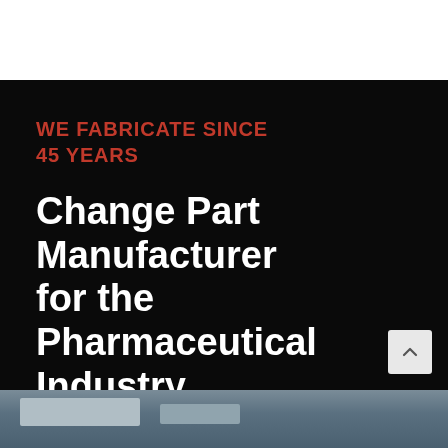[Figure (photo): White top bar area, blank]
WE FABRICATE SINCE 45 YEARS
Change Part Manufacturer for the Pharmaceutical Industry
[Figure (photo): Photo strip at the bottom showing pharmaceutical manufacturing machinery equipment in grey/blue tones]